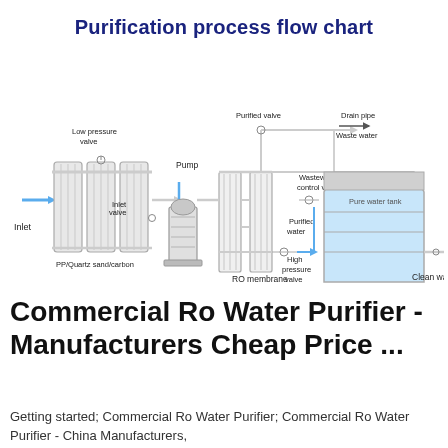Purification process flow chart
[Figure (flowchart): Water purification process flow chart showing: Inlet → PP/Quartz sand/carbon filters (with Low pressure valve and Inlet valve) → Pump → RO membrane (with Purified valve, Wastewater control valve, High pressure valve) → Pure water tank (Purified water) → Clean water output, with Drain pipe and Waste water discharge]
Commercial Ro Water Purifier - Manufacturers Cheap Price ...
Getting started; Commercial Ro Water Purifier; Commercial Ro Water Purifier - China Manufacturers,